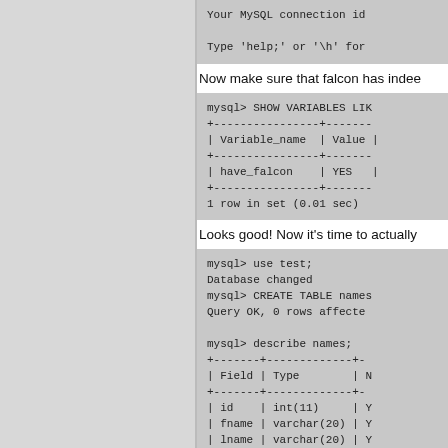Your MySQL connection id
Type 'help;' or '\h' for
Now make sure that falcon has indee
mysql> SHOW VARIABLES LIK
+----------------+-------+
| Variable_name | Value |
+----------------+-------
| have_falcon    | YES   |
+----------------+-------
1 row in set (0.01 sec)
Looks good! Now it's time to actually
mysql> use test;
Database changed
mysql> CREATE TABLE names
Query OK, 0 rows affecte

mysql> describe names;
+-------+-------------+-
| Field | Type        | N
+-------+-------------+-
| id    | int(11)     | Y
| fname | varchar(20) | Y
| lname | varchar(20) | Y
+-------+-------------+-